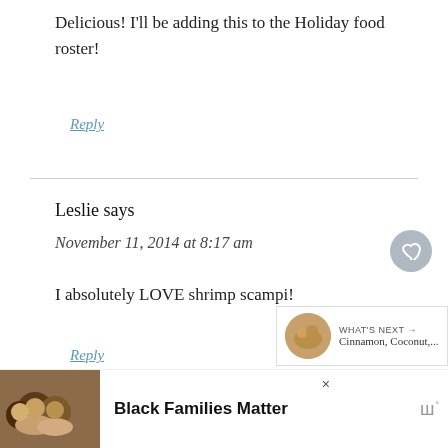Delicious! I'll be adding this to the Holiday food roster!
Reply
Leslie says
November 11, 2014 at 8:17 am
I absolutely LOVE shrimp scampi!
Reply
[Figure (other): What's Next widget showing a food image with text 'Cinnamon, Coconut,...']
[Figure (other): Advertisement banner with photo of people smiling and text 'Black Families Matter']